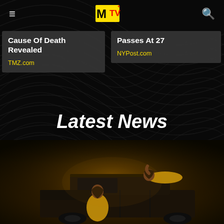MTV (logo, hamburger menu, search icon)
Cause Of Death Revealed
TMZ.com
Passes At 27
NYPost.com
Latest News
[Figure (photo): Two women in gold outfits posing on top of a dark SUV against a brown studio background]